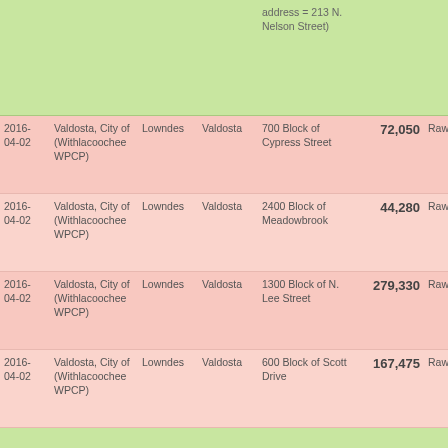| Date | Entity | County | City | Location | Gallons | Type |
| --- | --- | --- | --- | --- | --- | --- |
|  |  |  |  | address = 213 N. Nelson Street) |  |  |
| 2016-04-02 | Valdosta, City of (Withlacoochee WPCP) | Lowndes | Valdosta | 700 Block of Cypress Street | 72,050 | Raw Sewage |
| 2016-04-02 | Valdosta, City of (Withlacoochee WPCP) | Lowndes | Valdosta | 2400 Block of Meadowbrook | 44,280 | Raw Sewage |
| 2016-04-02 | Valdosta, City of (Withlacoochee WPCP) | Lowndes | Valdosta | 1300 Block of N. Lee Street | 279,330 | Raw Sewage |
| 2016-04-02 | Valdosta, City of (Withlacoochee WPCP) | Lowndes | Valdosta | 600 Block of Scott Drive | 167,475 | Raw Sewage |